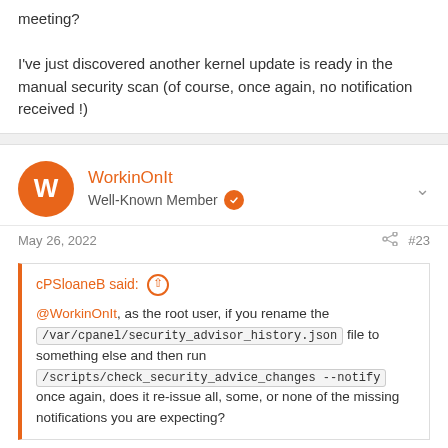meeting?

I've just discovered another kernel update is ready in the manual security scan (of course, once again, no notification received !)
WorkinOnIt
Well-Known Member
May 26, 2022  #23
cPSloaneB said:
@WorkinOnIt, as the root user, if you rename the /var/cpanel/security_advisor_history.json file to something else and then run /scripts/check_security_advice_changes --notify once again, does it re-issue all, some, or none of the missing notifications you are expecting?
Thank you @cPSloaneB - yes, that actually worked! I also